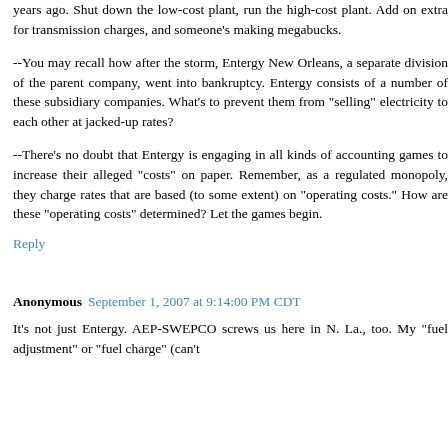years ago. Shut down the low-cost plant, run the high-cost plant. Add on extra for transmission charges, and someone's making megabucks.
--You may recall how after the storm, Entergy New Orleans, a separate division of the parent company, went into bankruptcy. Entergy consists of a number of these subsidiary companies. What's to prevent them from "selling" electricity to each other at jacked-up rates?
--There's no doubt that Entergy is engaging in all kinds of accounting games to increase their alleged "costs" on paper. Remember, as a regulated monopoly, they charge rates that are based (to some extent) on "operating costs." How are these "operating costs" determined? Let the games begin.
Reply
Anonymous September 1, 2007 at 9:14:00 PM CDT
It's not just Entergy. AEP-SWEPCO screws us here in N. La., too. My "fuel adjustment" or "fuel charge" (can't